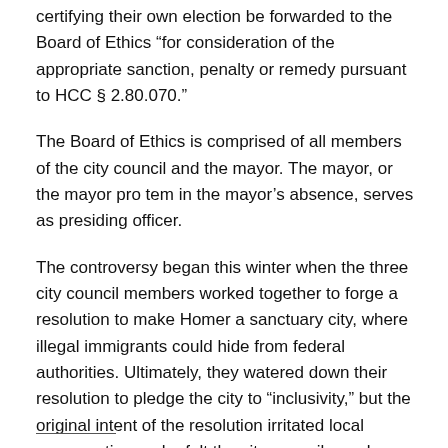certifying their own election be forwarded to the Board of Ethics “for consideration of the appropriate sanction, penalty or remedy pursuant to HCC § 2.80.070.”
The Board of Ethics is comprised of all members of the city council and the mayor. The mayor, or the mayor pro tem in the mayor’s absence, serves as presiding officer.
The controversy began this winter when the three city council members worked together to forge a resolution to make Homer a sanctuary city, where illegal immigrants could hide from federal authorities. Ultimately, they watered down their resolution to pledge the city to “inclusivity,” but the original intent of the resolution irritated local conservatives, who felt the city council members were overstepping their authority.